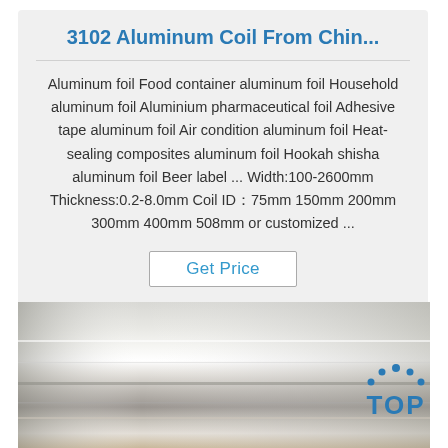3102 Aluminum Coil From Chin...
Aluminum foil Food container aluminum foil Household aluminum foil Aluminium pharmaceutical foil Adhesive tape aluminum foil Air condition aluminum foil Heat-sealing composites aluminum foil Hookah shisha aluminum foil Beer label ... Width:100-2600mm Thickness:0.2-8.0mm Coil ID：75mm 150mm 200mm 300mm 400mm 508mm or customized ...
Get Price
[Figure (photo): A close-up photo of a shiny metallic aluminum coil roll showing reflective silver surface with bands of light and shadow.]